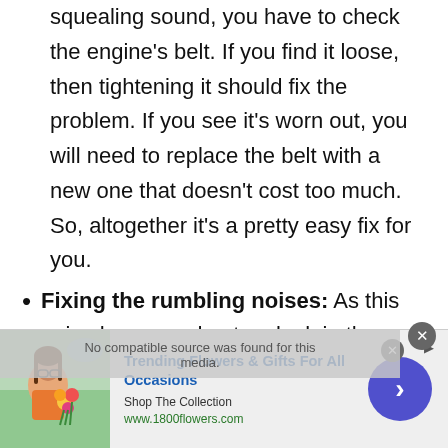squealing sound, you have to check the engine's belt. If you find it loose, then tightening it should fix the problem. If you see it's worn out, you will need to replace the belt with a new one that doesn't cost too much. So, altogether it's a pretty easy fix for you.
Fixing the rumbling noises: As this noise happens due to a leak in the exhaust, you first have to find
[Figure (other): Advertisement banner for 1800flowers.com - Trending Flowers & Gifts For All Occasions. Shows a woman holding flowers, shop the collection link, and a blue arrow button.]